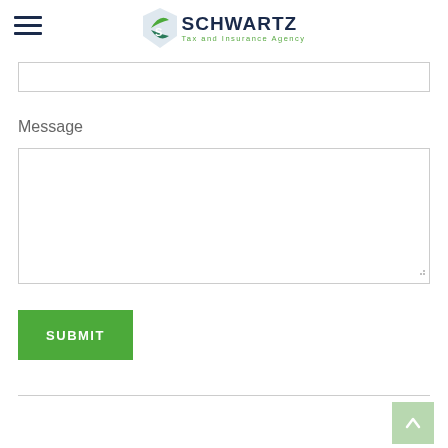[Figure (logo): Schwartz Tax and Insurance Agency logo with green angular leaf/diamond icon and dark navy text 'SCHWARTZ' with green subtitle 'Tax and Insurance Agency']
Message
SUBMIT